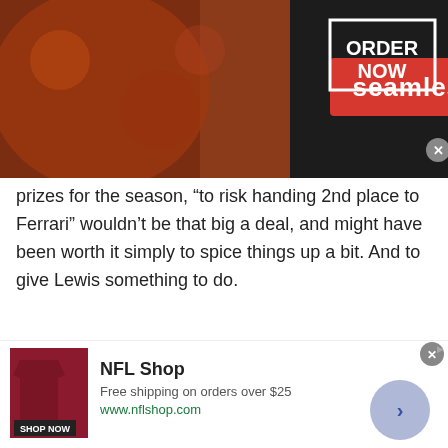[Figure (screenshot): Seamless food delivery advertisement banner with pizza image, red Seamless badge, and ORDER NOW button in white box on dark background]
prizes for the season, “to risk handing 2nd place to Ferrari” wouldn’t be that big a deal, and might have been worth it simply to spice things up a bit. And to give Lewis something to do.
uan (@uan)
16th November 2015, 2:59
@schooner
I think you’re right, and it would have been fun to watch — Hamilton would have had a meltdown.
Imagine him finding himself in P2 “hey man, this was...
[Figure (screenshot): NFL Shop advertisement banner with dark red jersey image, shop now button, free shipping offer, and chevron button]